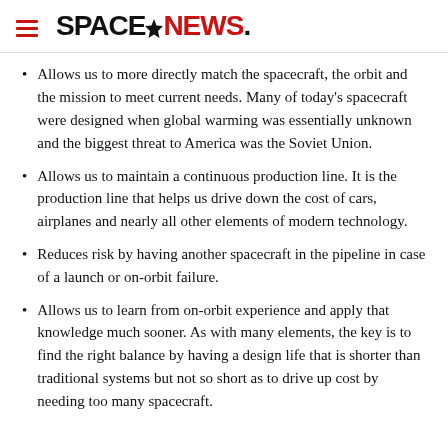SPACENEWS
Allows us to more directly match the spacecraft, the orbit and the mission to meet current needs. Many of today’s spacecraft were designed when global warming was essentially unknown and the biggest threat to America was the Soviet Union.
Allows us to maintain a continuous production line. It is the production line that helps us drive down the cost of cars, airplanes and nearly all other elements of modern technology.
Reduces risk by having another spacecraft in the pipeline in case of a launch or on-orbit failure.
Allows us to learn from on-orbit experience and apply that knowledge much sooner. As with many elements, the key is to find the right balance by having a design life that is shorter than traditional systems but not so short as to drive up cost by needing too many spacecraft.